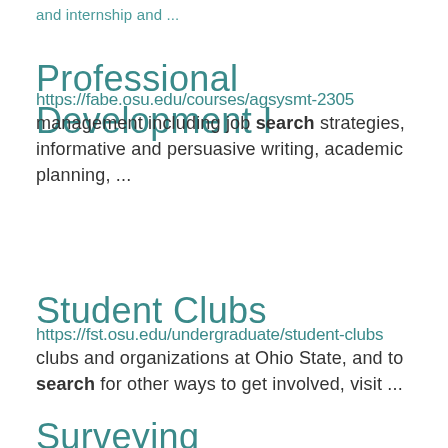and internship and ...
Professional Development I
https://fabe.osu.edu/courses/agsysmt-2305
management including job search strategies, informative and persuasive writing, academic planning, ...
Student Clubs
https://fst.osu.edu/undergraduate/student-clubs
clubs and organizations at Ohio State, and to search for other ways to get involved, visit ...
Surveying